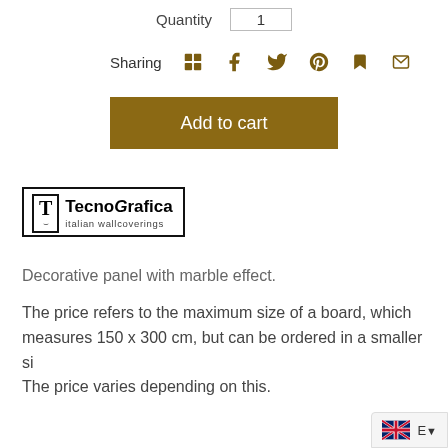Quantity  1
Sharing
Add to cart
[Figure (logo): TecnoGrafica italian wallcoverings logo with T in bordered square]
Decorative panel with marble effect.
The price refers to the maximum size of a board, which measures 150 x 300 cm, but can be ordered in a smaller si... The price varies depending on this.